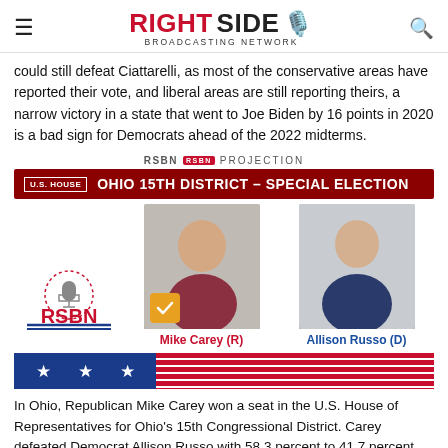RIGHT SIDE BROADCASTING NETWORK
could still defeat Ciattarelli, as most of the conservative areas have reported their vote, and liberal areas are still reporting theirs, a narrow victory in a state that went to Joe Biden by 16 points in 2020 is a bad sign for Democrats ahead of the 2022 midterms.
[Figure (infographic): RSBN Projection card for Ohio 15th District Special Election. Shows Mike Carey (R) with checkmark badge and Allison Russo (D) alongside RSBN logo. Includes American flag bar at bottom.]
In Ohio, Republican Mike Carey won a seat in the U.S. House of Representatives for Ohio's 15th Congressional District. Carey defeated Democrat Allison Russo with 58.3 percent to 41.7 percent